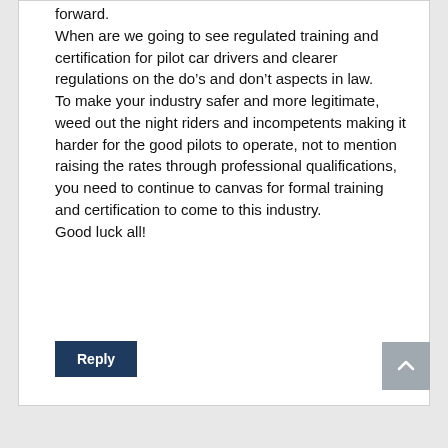forward.
When are we going to see regulated training and certification for pilot car drivers and clearer regulations on the do's and don't aspects in law.
To make your industry safer and more legitimate, weed out the night riders and incompetents making it harder for the good pilots to operate, not to mention raising the rates through professional qualifications, you need to continue to canvas for formal training and certification to come to this industry.
Good luck all!
Reply